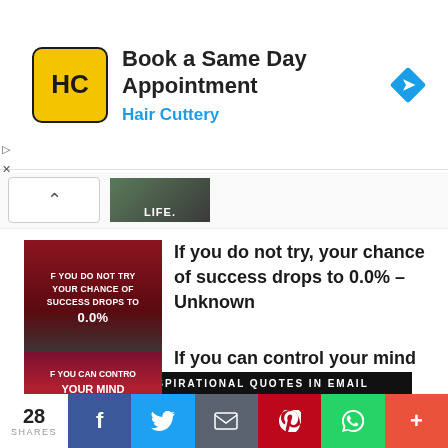[Figure (screenshot): Hair Cuttery advertisement banner: yellow logo with HC letters, title 'Book a Same Day Appointment', subtitle 'Hair Cuttery' in blue, blue diamond navigation arrow icon on right]
[Figure (photo): Partially visible thumbnail image with text 'LIFE.' visible]
[Figure (photo): Quote image thumbnail with dark red background, white bold text: 'IF YOU DO NOT TRY YOUR CHANCE OF SUCCESS DROPS TO 0.0%']
If you do not try, your chance of success drops to 0.0% – Unknown
[Figure (photo): Quote image thumbnail with dark red/maroon background, white bold text: 'IF YOU CAN CONTROL YOUR MIND YOU CAN CONTROL YOUR LIFE.']
If you can control your mind you can control your life. – Unknown
28 SHARES